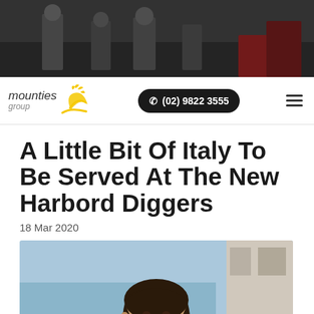[Figure (photo): Top banner photo showing people standing outdoors, dark/moody background]
mounties group | (02) 9822 3555
A Little Bit Of Italy To Be Served At The New Harbord Diggers
18 Mar 2020
[Figure (photo): Photo of a smiling man with dark hair, ocean/beach in the background]